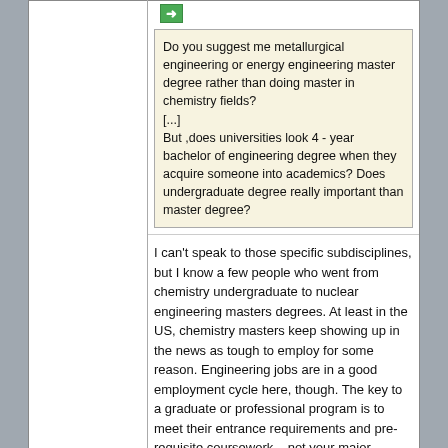Do you suggest me metallurgical engineering or energy engineering master degree rather than doing master in chemistry fields?
[...]
But ,does universities look 4 - year bachelor of engineering degree when they acquire someone into academics? Does undergraduate degree really important than master degree?
I can't speak to those specific subdisciplines, but I know a few people who went from chemistry undergraduate to nuclear engineering masters degrees. At least in the US, chemistry masters keep showing up in the news as tough to employ for some reason. Engineering jobs are in a good employment cycle here, though. The key to a graduate or professional program is to meet their entrance requirements and pre-requisite coursework... not your major.
Magpie
lab constructor
posted on 17-7-2014 at 14:29